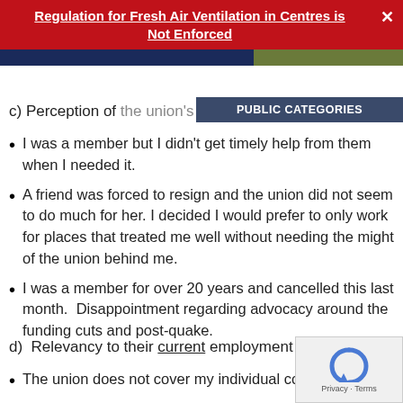Regulation for Fresh Air Ventilation in Centres is Not Enforced
PUBLIC CATEGORIES
c) Perception of the union's effectiveness
I was a member but I didn't get timely help from them when I needed it.
A friend was forced to resign and the union did not seem to do much for her. I decided I would prefer to only work for places that treated me well without needing the might of the union behind me.
I was a member for over 20 years and cancelled this last month.  Disappointment regarding advocacy around the funding cuts and post-quake.
d)  Relevancy to their current employment situa
The union does not cover my individual contract.